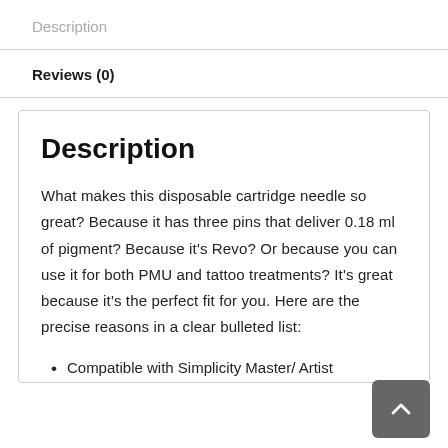Description
Reviews (0)
Description
What makes this disposable cartridge needle so great? Because it has three pins that deliver 0.18 ml of pigment? Because it's Revo? Or because you can use it for both PMU and tattoo treatments? It's great because it's the perfect fit for you. Here are the precise reasons in a clear bulleted list:
Compatible with Simplicity Master/ Artist